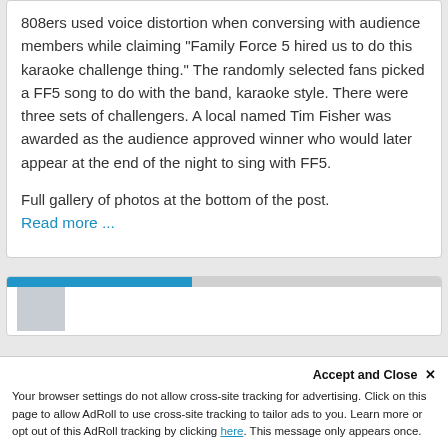808ers used voice distortion when conversing with audience members while claiming “Family Force 5 hired us to do this karaoke challenge thing.” The randomly selected fans picked a FF5 song to do with the band, karaoke style. There were three sets of challengers. A local named Tim Fisher was awarded as the audience approved winner who would later appear at the end of the night to sing with FF5.
Full gallery of photos at the bottom of the post.
Read more ...
[Figure (other): Partial card showing a blue progress bar and a gray placeholder icon, beginning of a new content block]
Accept and Close ×
Your browser settings do not allow cross-site tracking for advertising. Click on this page to allow AdRoll to use cross-site tracking to tailor ads to you. Learn more or opt out of this AdRoll tracking by clicking here. This message only appears once.